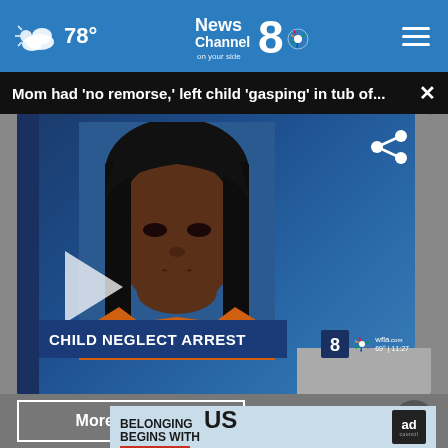78° News Channel 8 on your side
Mom had 'no remorse,' left child 'gasping' in tub of...
[Figure (screenshot): News video still showing mugshot of woman in orange jumpsuit with 'CHILD NEGLECT ARREST' lower-third graphic, Channel 8 / WFLA branding, play button overlay]
More Videos ›
[Figure (other): Ad Council banner: BELONGING BEGINS WITH US]